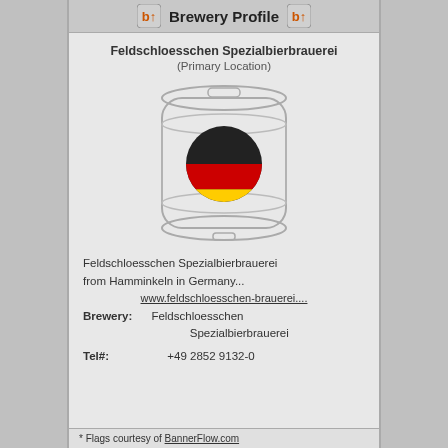Brewery Profile
Feldschloesschen Spezialbierbrauerei
(Primary Location)
[Figure (illustration): Line drawing of a beer keg/barrel with a German flag circle (black, red, gold) in the center]
Feldschloesschen Spezialbierbrauerei from Hamminkeln in Germany...
www.feldschloesschen-brauerei....
Brewery: Feldschloesschen Spezialbierbrauerei
Tel#: +49 2852 9132-0
* Flags courtesy of BannerFlow.com